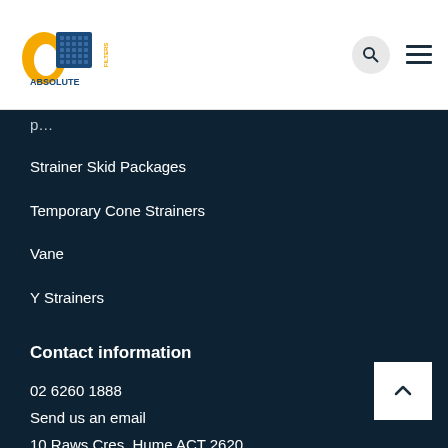Absolute Filters logo, search icon, hamburger menu
p…
Strainer Skid Packages
Temporary Cone Strainers
Vane
Y Strainers
Contact information
02 6260 1888
Send us an email
10 Raws Cres, Hume ACT 2620
Social media